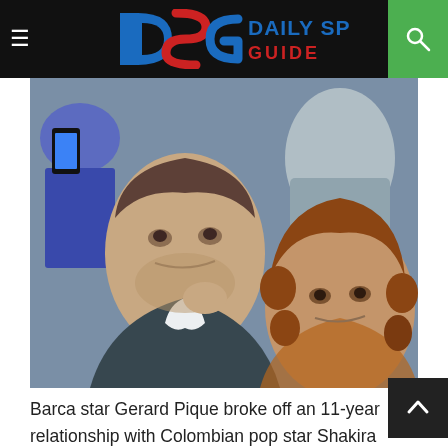Daily Sports Guide
[Figure (photo): Two people sitting in audience at a sporting event. A man on the left with stubble beard wearing a dark blazer and a woman on the right with curly auburn hair, looking serious.]
Barca star Gerard Pique broke off an 11-year relationship with Colombian pop star Shakira last month. Meanwhile, coach Xavi Hernandez has said that Barcelona does not need him anymore. PK has become emotionally upset after being pushed by a couple. He who lost the attack of the opponent in front of him, is now losing the food of